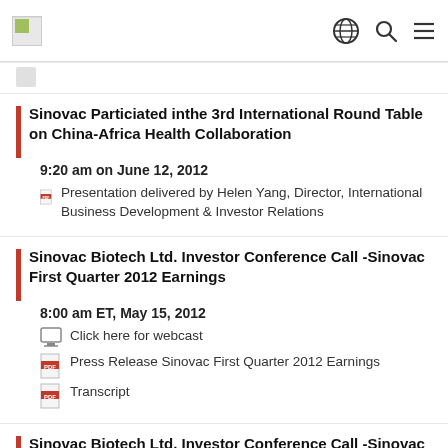[Logo] [Globe icon] [Search icon] [Menu icon]
[partial item icon] [partial text]
Sinovac Particiated inthe 3rd International Round Table on China-Africa Health Collaboration
9:20 am on June 12, 2012
Presentation delivered by Helen Yang, Director, International Business Development & Investor Relations
Sinovac Biotech Ltd. Investor Conference Call -Sinovac First Quarter 2012 Earnings
8:00 am ET, May 15, 2012
Click here for webcast
Press Release Sinovac First Quarter 2012 Earnings
Transcript
Sinovac Biotech Ltd. Investor Conference Call -Sinovac Fourth Quarter and full year 2011 Earnings